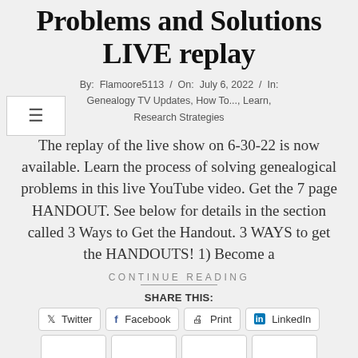Problems and Solutions LIVE replay
By: Flamoore5113 / On: July 6, 2022 / In: Genealogy TV Updates, How To..., Learn, Research Strategies
The replay of the live show on 6-30-22 is now available. Learn the process of solving genealogical problems in this live YouTube video. Get the 7 page HANDOUT. See below for details in the section called 3 Ways to Get the Handout. 3 WAYS to get the HANDOUTS! 1) Become a
CONTINUE READING
SHARE THIS:
Twitter  Facebook  Print  LinkedIn